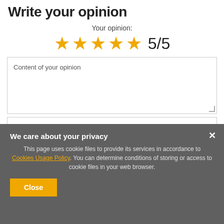Write your opinion
Your opinion:
[Figure (infographic): Five gold stars rating with score 5/5]
Content of your opinion
Add your own product photo:
Choose File  No file chosen
We care about your privacy
This page uses cookie files to provide its services in accordance to Cookies Usage Policy. You can determine conditions of storing or access to cookie files in your web browser.
Close